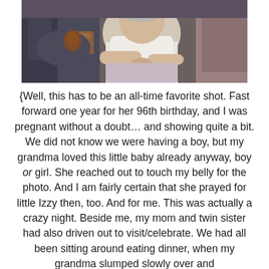[Figure (photo): A photograph showing three people sitting together. On the left is a person wearing a dark outfit with a brown belt/sash. In the middle is an elderly woman wearing a white top, and on the right is another person partially visible. The image has warm tones.]
{Well, this has to be an all-time favorite shot. Fast forward one year for her 96th birthday, and I was pregnant without a doubt… and showing quite a bit. We did not know we were having a boy, but my grandma loved this little baby already anyway, boy or girl. She reached out to touch my belly for the photo. And I am fairly certain that she prayed for little Izzy then, too. And for me. This was actually a crazy night. Beside me, my mom and twin sister had also driven out to visit/celebrate. We had all been sitting around eating dinner, when my grandma slumped slowly over and